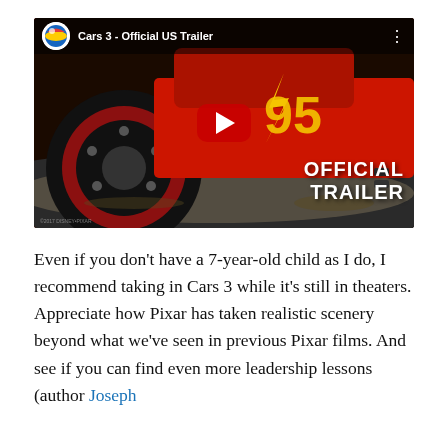[Figure (screenshot): YouTube video thumbnail for 'Cars 3 - Official US Trailer' showing Lightning McQueen race car with a red play button overlay and 'OFFICIAL TRAILER' text in the bottom right]
Even if you don't have a 7-year-old child as I do, I recommend taking in Cars 3 while it's still in theaters. Appreciate how Pixar has taken realistic scenery beyond what we've seen in previous Pixar films. And see if you can find even more leadership lessons (author Joseph [cut off]